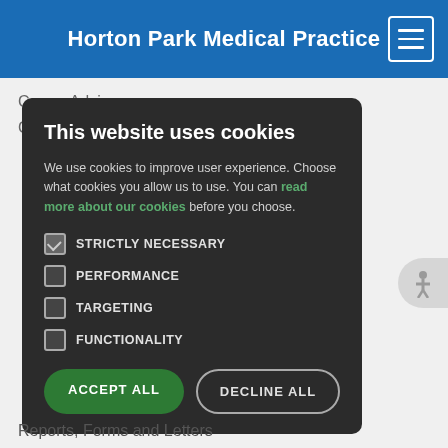Horton Park Medical Practice
Carers Advice
Coronavirus Information
This website uses cookies
We use cookies to improve user experience. Choose what cookies you allow us to use. You can read more about our cookies before you choose.
STRICTLY NECESSARY
PERFORMANCE
TARGETING
FUNCTIONALITY
ACCEPT ALL
DECLINE ALL
Reports, Forms and Letters